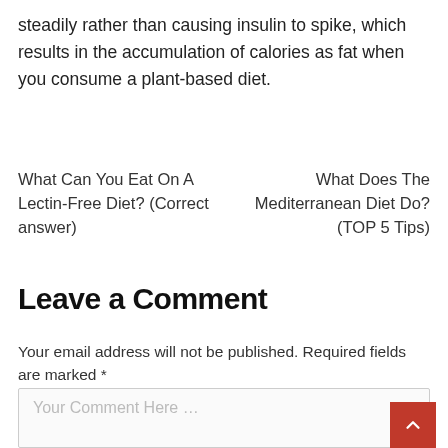steadily rather than causing insulin to spike, which results in the accumulation of calories as fat when you consume a plant-based diet.
What Can You Eat On A Lectin-Free Diet? (Correct answer)
What Does The Mediterranean Diet Do? (TOP 5 Tips)
Leave a Comment
Your email address will not be published. Required fields are marked *
Your Comment Here ...